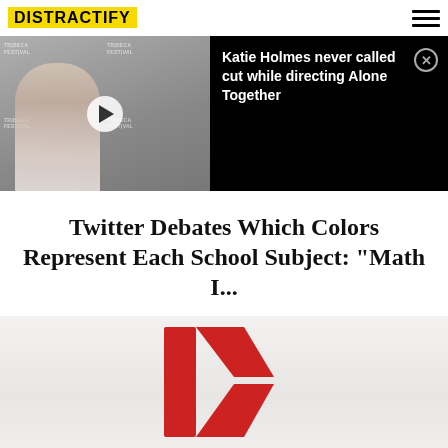DISTRACTIFY
[Figure (screenshot): Video thumbnail showing a woman at Tribeca Festival backdrop with play button overlay]
Katie Holmes never called cut while directing Alone Together
Twitter Debates Which Colors Represent Each School Subject: "Math I...
[Figure (photo): Kmart store with large red K logo on white wall]